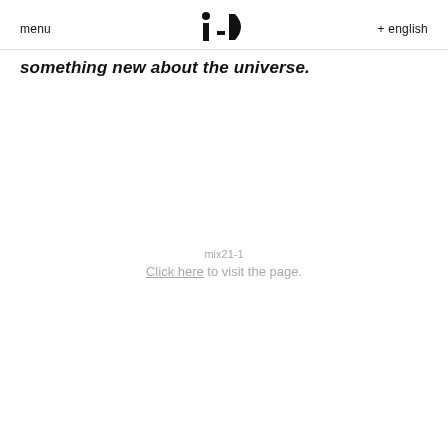menu  i-D  + english
something new about the universe.
mix21-1
Click here to visit the page.